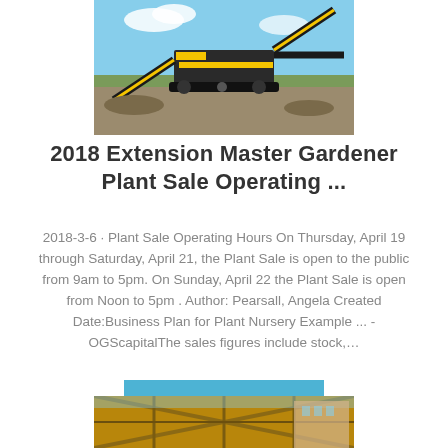[Figure (photo): Large yellow and black industrial mining/crushing machine on a dirt field under blue sky]
2018 Extension Master Gardener Plant Sale Operating ...
2018-3-6 · Plant Sale Operating Hours On Thursday, April 19 through Saturday, April 21, the Plant Sale is open to the public from 9am to 5pm. On Sunday, April 22 the Plant Sale is open from Noon to 5pm . Author: Pearsall, Angela Created Date:Business Plan for Plant Nursery Example ... - OGScapitalThe sales figures include stock,...
inquiry@shanghaimeilan
[Figure (photo): Industrial construction or mining site with steel structures and equipment]